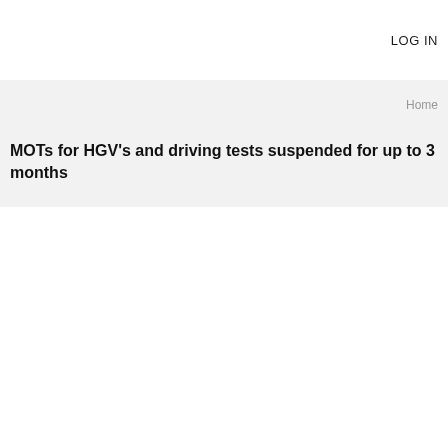LOG IN
Home
MOTs for HGV's and driving tests suspended for up to 3 months